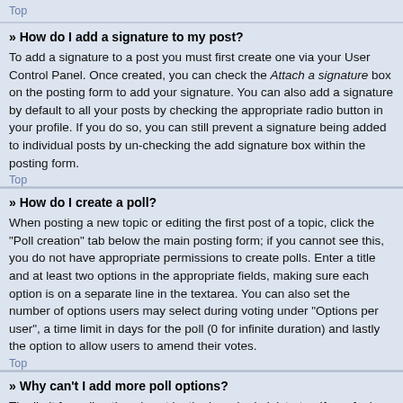Top
» How do I add a signature to my post?
To add a signature to a post you must first create one via your User Control Panel. Once created, you can check the Attach a signature box on the posting form to add your signature. You can also add a signature by default to all your posts by checking the appropriate radio button in your profile. If you do so, you can still prevent a signature being added to individual posts by un-checking the add signature box within the posting form.
Top
» How do I create a poll?
When posting a new topic or editing the first post of a topic, click the "Poll creation" tab below the main posting form; if you cannot see this, you do not have appropriate permissions to create polls. Enter a title and at least two options in the appropriate fields, making sure each option is on a separate line in the textarea. You can also set the number of options users may select during voting under "Options per user", a time limit in days for the poll (0 for infinite duration) and lastly the option to allow users to amend their votes.
Top
» Why can't I add more poll options?
The limit for poll options is set by the board administrator. If you feel you need to add more options to your poll than the allowed amount,